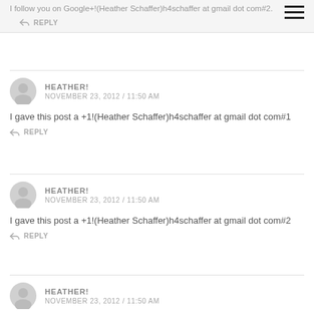I follow you on Google+!(Heather Schaffer)h4schaffer at gmail dot com#2.
REPLY
HEATHER!
NOVEMBER 23, 2012 / 11:50 AM
I gave this post a +1!(Heather Schaffer)h4schaffer at gmail dot com#1
REPLY
HEATHER!
NOVEMBER 23, 2012 / 11:50 AM
I gave this post a +1!(Heather Schaffer)h4schaffer at gmail dot com#2
REPLY
HEATHER!
NOVEMBER 23, 2012 / 11:50 AM